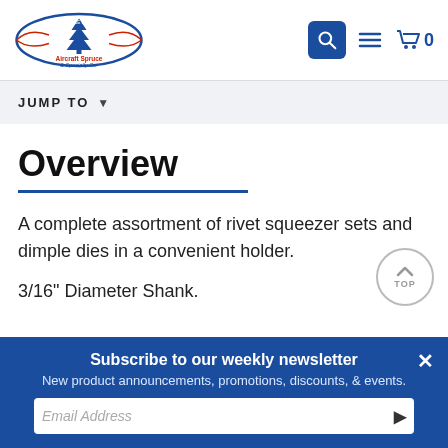[Figure (logo): Aircraft Spruce & Specialty Co. logo with search, menu, and cart icons]
JUMP TO
Overview
A complete assortment of rivet squeezer sets and dimple dies in a convenient holder.
3/16" Diameter Shank.
Subscribe to our weekly newsletter
New product announcements, promotions, discounts, & events.